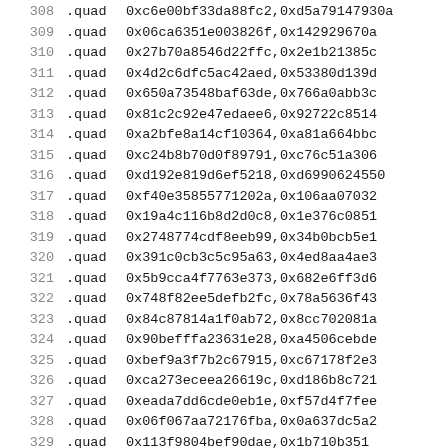308  .quad  0xc6e00bf33da88fc2,0xd5a79147930a...
309  .quad  0x06ca6351e003826f,0x142929670a...
310  .quad  0x27b70a8546d22ffc,0x2e1b21385c...
311  .quad  0x4d2c6dfc5ac42aed,0x53380d139d...
312  .quad  0x650a73548baf63de,0x766a0abb3c...
313  .quad  0x81c2c92e47edaee6,0x92722c8514...
314  .quad  0xa2bfe8a14cf10364,0xa81a664bbc...
315  .quad  0xc24b8b70d0f89791,0xc76c51a306...
316  .quad  0xd192e819d6ef5218,0xd699062455...
317  .quad  0xf40e35855771202a,0x106aa07032...
318  .quad  0x19a4c116b8d2d0c8,0x1e376c0851...
319  .quad  0x2748774cdf8eeb99,0x34b0bcb5e1...
320  .quad  0x391c0cb3c5c95a63,0x4ed8aa4ae3...
321  .quad  0x5b9cca4f7763e373,0x682e6ff3d6...
322  .quad  0x748f82ee5defb2fc,0x78a5636f43...
323  .quad  0x84c87814a1f0ab72,0x8cc702081a...
324  .quad  0x90befffa23631e28,0xa4506cebde...
325  .quad  0xbef9a3f7b2c67915,0xc67178f2e3...
326  .quad  0xca273eceea26619c,0xd186b8c721...
327  .quad  0xeada7dd6cde0eb1e,0xf57d4f7fee...
328  .quad  0x06f067aa72176fba,0x0a637dc5a2...
329  .quad  0x113f9804bef90dae,0x1b710b351...